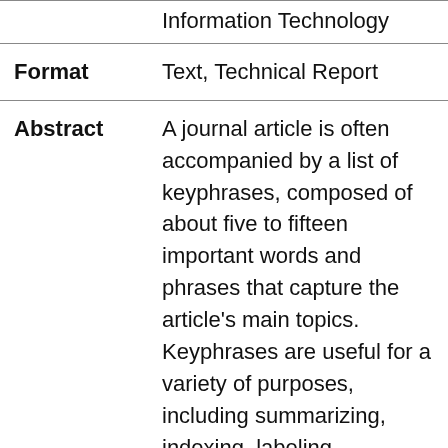| Field | Value |
| --- | --- |
| Information Technology |  |
| Format | Text, Technical Report |
| Abstract | A journal article is often accompanied by a list of keyphrases, composed of about five to fifteen important words and phrases that capture the article's main topics. Keyphrases are useful for a variety of purposes, including summarizing, indexing, labeling, categorizing, clustering, high-lighting, browsing, and searching. The task of automatic keyphrase extraction... |